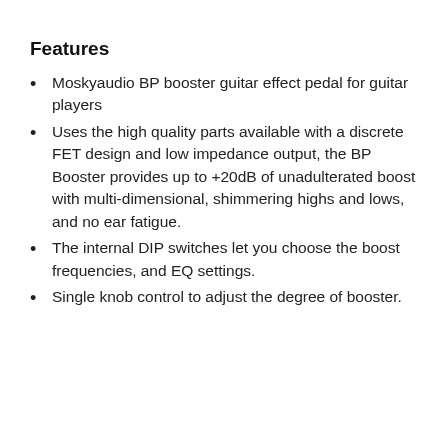Features
Moskyaudio BP booster guitar effect pedal for guitar players
Uses the high quality parts available with a discrete FET design and low impedance output, the BP Booster provides up to +20dB of unadulterated boost with multi-dimensional, shimmering highs and lows, and no ear fatigue.
The internal DIP switches let you choose the boost frequencies, and EQ settings.
Single knob control to adjust the degree of booster.